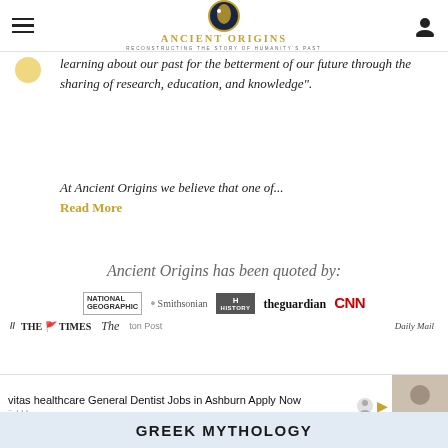Ancient Origins — Reconstructing the Story of Humanity's Past
learning about our past for the betterment of our future through the sharing of research, education, and knowledge".
At Ancient Origins we believe that one of...
Read More
Ancient Origins has been quoted by:
[Figure (logo): Media outlet logos: National Geographic, Smithsonian, History Channel, The Guardian, CNN, The Times, The, Daily Mail]
vitas healthcare General Dentist Jobs in Ashburn Apply Now
jiobble.com
GREEK MYTHOLOGY